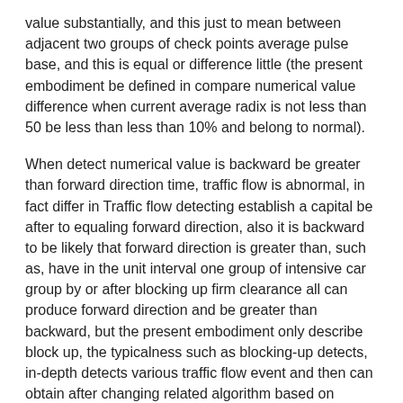value substantially, and this just to mean between adjacent two groups of check points average pulse base, and this is equal or difference little (the present embodiment be defined in compare numerical value difference when current average radix is not less than 50 be less than less than 10% and belong to normal).
When detect numerical value is backward be greater than forward direction time, traffic flow is abnormal, in fact differ in Traffic flow detecting establish a capital be after to equaling forward direction, also it is backward to be likely that forward direction is greater than, such as, have in the unit interval one group of intensive car group by or after blocking up firm clearance all can produce forward direction and be greater than backward, but the present embodiment only describe block up, the typicalness such as blocking-up detects, in-depth detects various traffic flow event and then can obtain after changing related algorithm based on detection method of the present invention.
The present embodiment blocks for road traffic or the traffic flow anomaly analysis mode of blocking up has